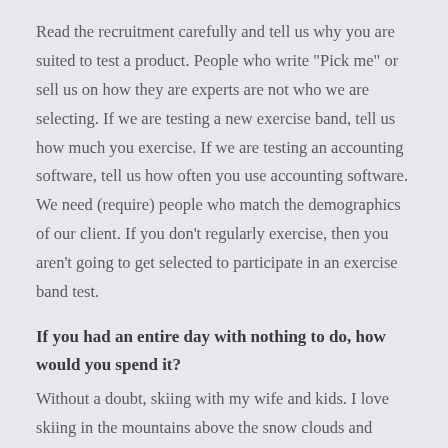Read the recruitment carefully and tell us why you are suited to test a product. People who write "Pick me" or sell us on how they are experts are not who we are selecting. If we are testing a new exercise band, tell us how much you exercise. If we are testing an accounting software, tell us how often you use accounting software. We need (require) people who match the demographics of our client. If you don't regularly exercise, then you aren't going to get selected to participate in an exercise band test.
If you had an entire day with nothing to do, how would you spend it?
Without a doubt, skiing with my wife and kids. I love skiing in the mountains above the snow clouds and nothing